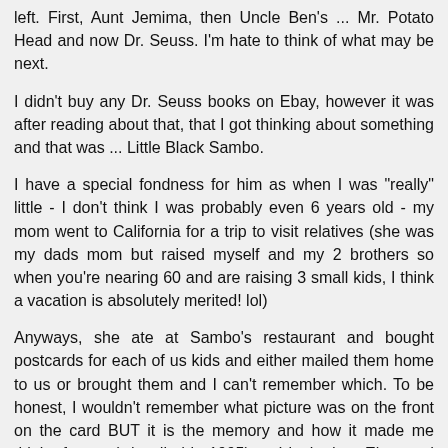left. First, Aunt Jemima, then Uncle Ben's ... Mr. Potato Head and now Dr. Seuss. I'm hate to think of what may be next.
I didn't buy any Dr. Seuss books on Ebay, however it was after reading about that, that I got thinking about something and that was ... Little Black Sambo.
I have a special fondness for him as when I was "really" little - I don't think I was probably even 6 years old - my mom went to California for a trip to visit relatives (she was my dads mom but raised myself and my 2 brothers so when you're nearing 60 and are raising 3 small kids, I think a vacation is absolutely merited! lol)
Anyways, she ate at Sambo's restaurant and bought postcards for each of us kids and either mailed them home to us or brought them and I can't remember which. To be honest, I wouldn't remember what picture was on the front on the card BUT it is the memory and how it made me think of mom (who died in 1995) so I looked on Ebay and found some of the postcards and bought one that should be here